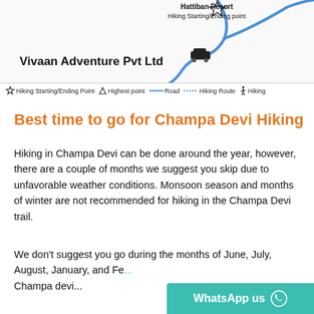[Figure (map): Map showing Hattiban Resort as Hiking Starting/Ending point with a blue route line, a car icon, and a star/sun icon marker. Company name 'Vivaan Adventure Pvt Ltd' shown on the map.]
Hiking Starting/Ending Point   Highest point   Road   Hiking Route   Hiking
Best time to go for Champa Devi Hiking
Hiking in Champa Devi can be done around the year, however, there are a couple of months we suggest you skip due to unfavorable weather conditions. Monsoon season and months of winter are not recommended for hiking in the Champa Devi trail.
We don't suggest you go during the months of June, July, August, January, and Fe... Champa Devi...